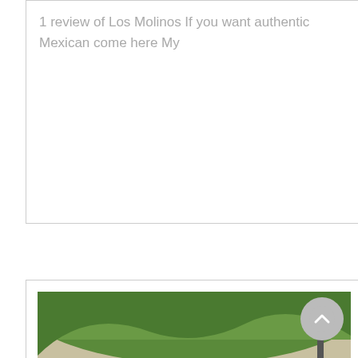1 review of Los Molinos If you want authentic Mexican come here My
[Figure (photo): Outdoor mining or quarry site with large piles of sand/gravel, construction machinery including a yellow bulldozer, and green hillside in the background.]
MOLINOS LOS ANGELES KINDERYMATERNA COM MX
Molinos Los Angeles S R L in Chiclayo Peru Molinos Los Angeles S R